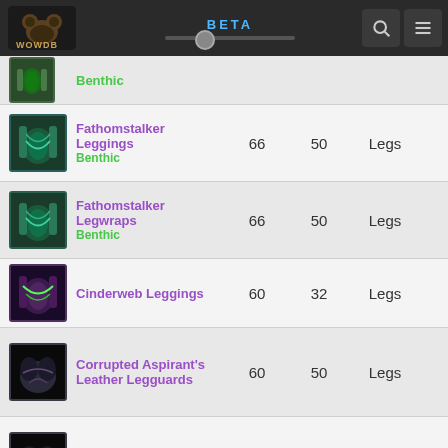WOWDB BETA
| Icon | Name | Level | iLevel | Slot |  |
| --- | --- | --- | --- | --- | --- |
| [img] | Benthic |  |  |  |  |
| [img] | Fathomstalker Leggings Benthic | 66 | 50 | Legs |  |
| [img] | Fathomstalker Legwraps Benthic | 66 | 50 | Legs |  |
| [img] | Cinderweb Leggings | 60 | 32 | Legs |  |
| [img] | Corrupted Aspirant's Leather Legguards | 60 | 50 | Legs |  |
| [img] | Corrupted Aspirant's Leather Legguards | 60 | 50 | Legs |  |
| [img] | Corrupted Gladiator's Leather Legguards | 60 | 50 | Legs |  |